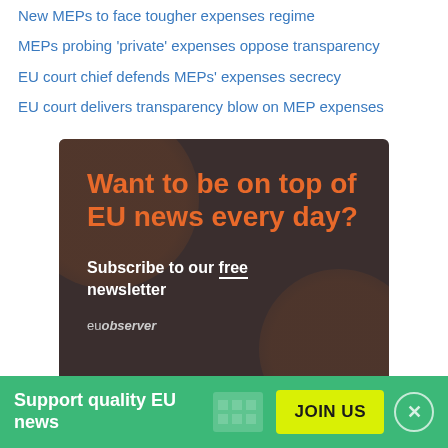New MEPs to face tougher expenses regime
MEPs probing 'private' expenses oppose transparency
EU court chief defends MEPs' expenses secrecy
EU court delivers transparency blow on MEP expenses
[Figure (infographic): EUobserver newsletter advertisement banner with dark brown background and orange/brown decorative circles. Orange bold headline: 'Want to be on top of EU news every day?' followed by white text: 'Subscribe to our free newsletter' with 'free' underlined, and euobserver logo at bottom.]
Support quality EU news — JOIN US (bottom bar with green background and yellow button)